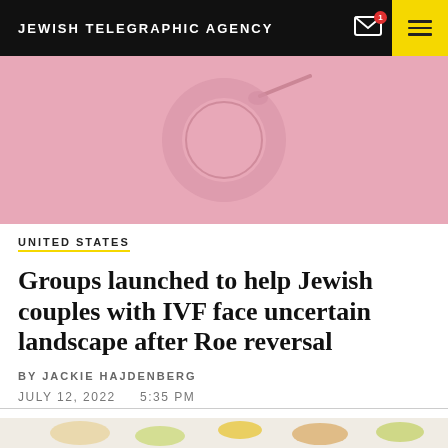JEWISH TELEGRAPHIC AGENCY
[Figure (photo): Pink background with circular pink dish or bowl object, top-down view]
UNITED STATES
Groups launched to help Jewish couples with IVF face uncertain landscape after Roe reversal
BY JACKIE HAJDENBERG
JULY 12, 2022   5:35 PM
[Figure (photo): Food dish with colorful vegetables, partial view at bottom of page]